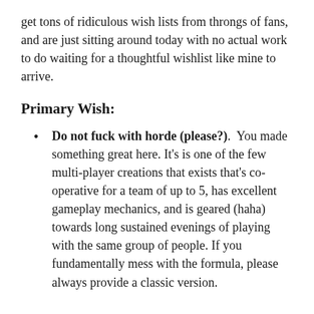get tons of ridiculous wish lists from throngs of fans, and are just sitting around today with no actual work to do waiting for a thoughtful wishlist like mine to arrive.
Primary Wish:
Do not fuck with horde (please?).  You made something great here. It's is one of the few multi-player creations that exists that's co-operative for a team of up to 5, has excellent gameplay mechanics, and is geared (haha) towards long sustained evenings of playing with the same group of people. If you fundamentally mess with the formula, please always provide a classic version.